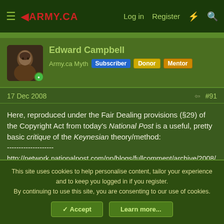ARMY.CA | Log in | Register
Edward Campbell
Army.ca Myth  Subscriber  Donor  Mentor
17 Dec 2008  #91
Here, reproduced under the Fair Dealing provisions (§29) of the Copyright Act from today's National Post is a useful, pretty basic critique of the Keynesian theory/method:
--------------------
http://network.nationalpost.com/np/blogs/fullcomment/archive/2008/12/16/peter-foster-the-ugly-spectre-of-new-keynesianism.aspx
This site uses cookies to help personalise content, tailor your experience and to keep you logged in if you register.
By continuing to use this site, you are consenting to our use of cookies.